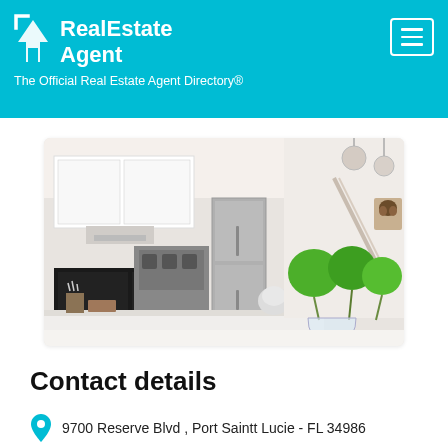RealEstate Agent — The Official Real Estate Agent Directory®
[Figure (photo): Interior photo of a modern kitchen with white upper cabinets, black lower cabinets, stainless steel range and refrigerator, marble countertop, and green decorative plants in a glass vase on the counter. A staircase and dog portrait art visible in the background.]
Contact details
9700 Reserve Blvd , Port Saintt Lucie - FL 34986